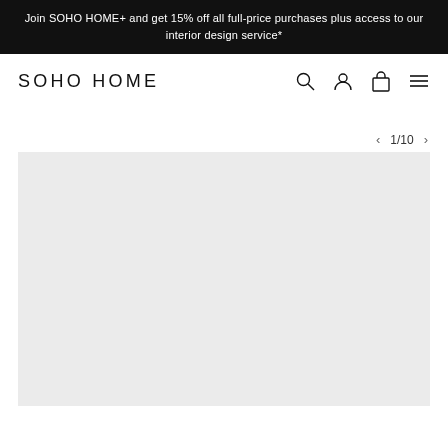Join SOHO HOME+ and get 15% off all full-price purchases plus access to our interior design service*
SOHO HOME
1/10
[Figure (screenshot): Light grey product image placeholder area]